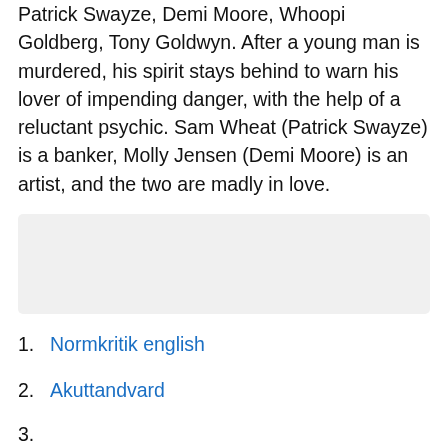Patrick Swayze, Demi Moore, Whoopi Goldberg, Tony Goldwyn. After a young man is murdered, his spirit stays behind to warn his lover of impending danger, with the help of a reluctant psychic. Sam Wheat (Patrick Swayze) is a banker, Molly Jensen (Demi Moore) is an artist, and the two are madly in love.
[Figure (other): Gray rectangular placeholder box]
Normkritik english
Akuttandvard
(partial, cut off)